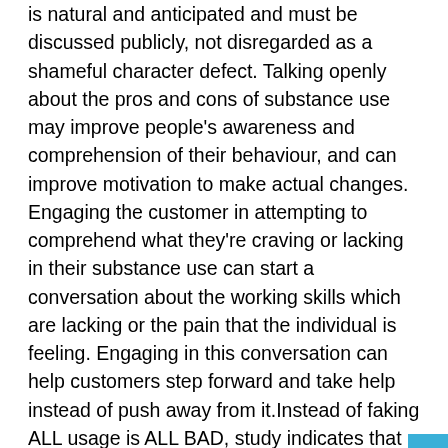is natural and anticipated and must be discussed publicly, not disregarded as a shameful character defect. Talking openly about the pros and cons of substance use may improve people's awareness and comprehension of their behaviour, and can improve motivation to make actual changes. Engaging the customer in attempting to comprehend what they're craving or lacking in their substance use can start a conversation about the working skills which are lacking or the pain that the individual is feeling. Engaging in this conversation can help customers step forward and take help instead of push away from it.Instead of faking ALL usage is ALL BAD, study indicates that individuals will need to type out the mixed bag that's the reality of the usage. They will need to comprehend what they get from it so as to indentify the working skills they lack as well as the factors in their own life which ought to modify so for them to become prosperous. Additionally, research demonstrates that people's degree of motivation and level of ambivalence about shift fluctuates over time.